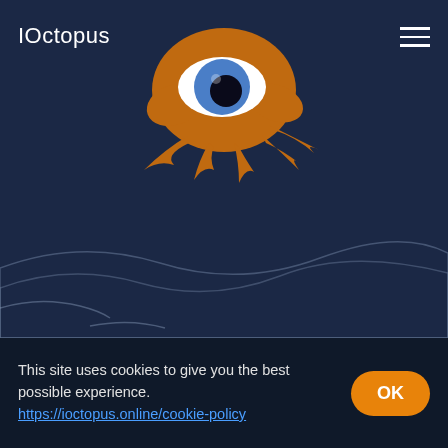IOctopus
[Figure (logo): IOctopus logo: orange octopus body with a large blue eye with black pupil and white sclera, tentacles below, floating above stylized ocean waves on a dark navy background]
This site uses cookies to give you the best possible experience. https://ioctopus.online/cookie-policy